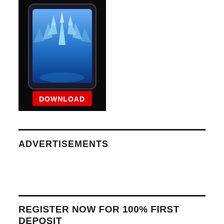[Figure (illustration): Advertisement image with dark/black background showing a smartphone with blue shards/triangles bursting upward, and a red 'DOWNLOAD' button below the phone]
ADVERTISEMENTS
REGISTER NOW FOR 100% FIRST DEPOSIT